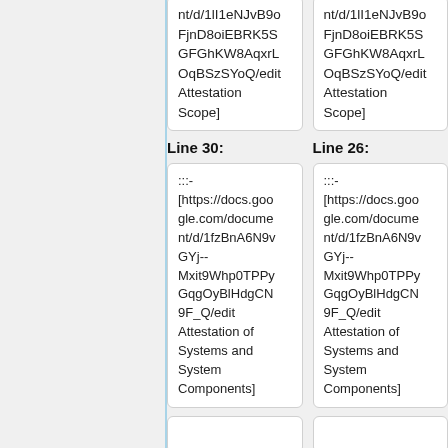nt/d/1lI1eNJvB9oFjnD8oiEBRK5SGFGhKW8AqxrLOqBSzSYoQ/edit Attestation Scope]
nt/d/1lI1eNJvB9oFjnD8oiEBRK5SGFGhKW8AqxrLOqBSzSYoQ/edit Attestation Scope]
Line 30:
Line 26:
:::-[https://docs.google.com/document/d/1fzBnA6N9vGYj--Mxit9Whp0TPPyGqgOyBlHdgCN9F_Q/edit Attestation of Systems and System Components]
:::-[https://docs.google.com/document/d/1fzBnA6N9vGYj--Mxit9Whp0TPPyGqgOyBlHdgCN9F_Q/edit Attestation of Systems and System Components]